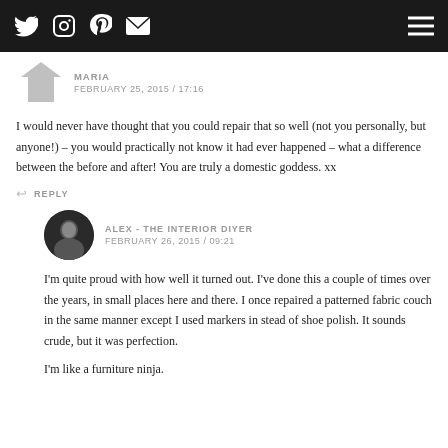Nav bar with Twitter, Instagram, Pinterest, Email icons and hamburger menu
MARIA
FEBRUARY 25, 2015 / 17:16
I would never have thought that you could repair that so well (not you personally, but anyone!) – you would practically not know it had ever happened – what a difference between the before and after! You are truly a domestic goddess. xx
REPLY
ALEX - THE INTERIOR DIYER
FEBRUARY 26, 2015 / 09:21
I'm quite proud with how well it turned out. I've done this a couple of times over the years, in small places here and there. I once repaired a patterned fabric couch in the same manner except I used markers in stead of shoe polish. It sounds crude, but it was perfection.

I'm like a furniture ninja.